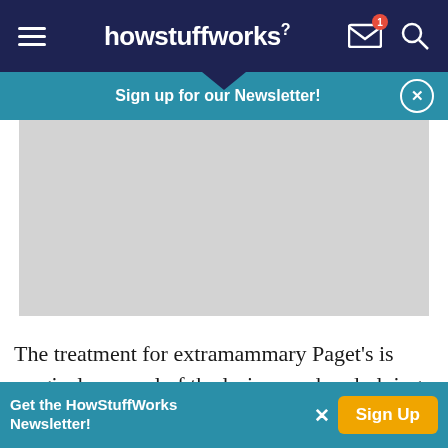howstuffworks
Sign up for our Newsletter!
[Figure (photo): Gray image placeholder area for a medical photo]
The treatment for extramammary Paget's is surgical removal of the lesions and underlying tissue, which
Get the HowStuffWorks Newsletter! Sign Up